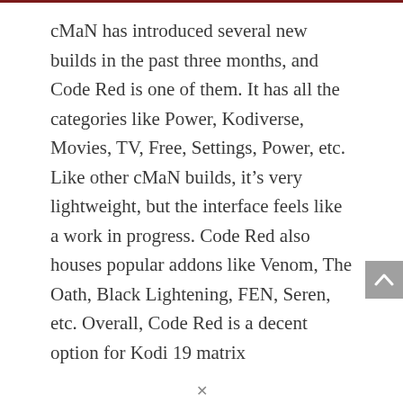cMaN has introduced several new builds in the past three months, and Code Red is one of them. It has all the categories like Power, Kodiverse, Movies, TV, Free, Settings, Power, etc. Like other cMaN builds, it's very lightweight, but the interface feels like a work in progress. Code Red also houses popular addons like Venom, The Oath, Black Lightening, FEN, Seren, etc. Overall, Code Red is a decent option for Kodi 19 matrix